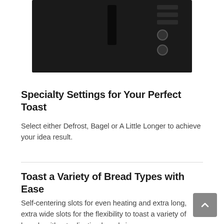[Figure (photo): Top portion of a black toaster appliance showing the toast slots and control panel with buttons on a dark background]
Specialty Settings for Your Perfect Toast
Select either Defrost, Bagel or A Little Longer to achieve your idea result.
Toast a Variety of Bread Types with Ease
Self-centering slots for even heating and extra long, extra wide slots for the flexibility to toast a variety of breads without adjusting bread size